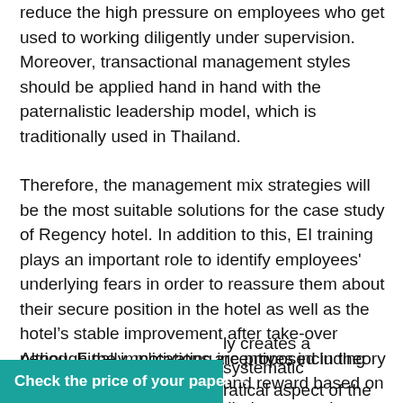reduce the high pressure on employees who get used to working diligently under supervision. Moreover, transactional management styles should be applied hand in hand with the paternalistic leadership model, which is traditionally used in Thailand.
Therefore, the management mix strategies will be the most suitable solutions for the case study of Regency hotel. In addition to this, EI training plays an important role to identify employees' underlying fears in order to reassure them about their secure position in the hotel as well as the hotel's stable improvement after take-over period. Finally, motivating incentives including individual decision making and reward based on performance should be applied to serve the employees' need of being appreciated.
Although the implications are proposed in theory and ... ly creates a systematic ... ratical aspect of the
Check the price of your paper →